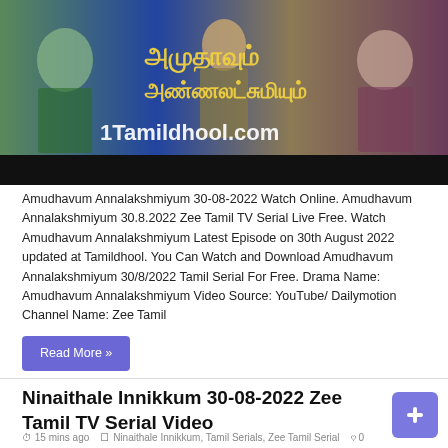[Figure (photo): Promotional image for Tamil serial 'Amudhavum Annalakshmiyum' showing characters with Tamil text and '1Tamildhool.com' watermark]
Amudhavum Annalakshmiyum 30-08-2022 Watch Online. Amudhavum Annalakshmiyum 30.8.2022 Zee Tamil TV Serial Live Free. Watch Amudhavum Annalakshmiyum Latest Episode on 30th August 2022 updated at Tamildhool. You Can Watch and Download Amudhavum Annalakshmiyum 30/8/2022 Tamil Serial For Free. Drama Name: Amudhavum Annalakshmiyum Video Source: YouTube/ Dailymotion Channel Name: Zee Tamil
Read More »
Ninaithale Innikkum 30-08-2022 Zee Tamil TV Serial Video
15 mins ago   Ninaithale Innikkum, Tamil Serials, Zee Tamil Serial   0